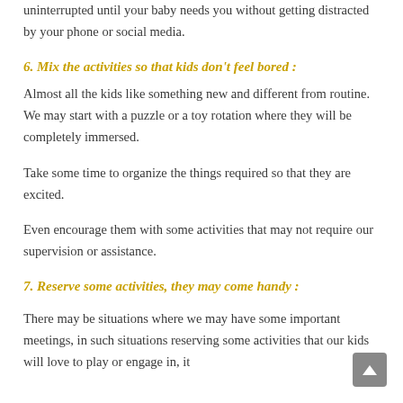uninterrupted until your baby needs you without getting distracted by your phone or social media.
6. Mix the activities so that kids don't feel bored :
Almost all the kids like something new and different from routine. We may start with a puzzle or a toy rotation where they will be completely immersed.
Take some time to organize the things required so that they are excited.
Even encourage them with some activities that may not require our supervision or assistance.
7. Reserve some activities, they may come handy :
There may be situations where we may have some important meetings, in such situations reserving some activities that our kids will love to play or engage in, it